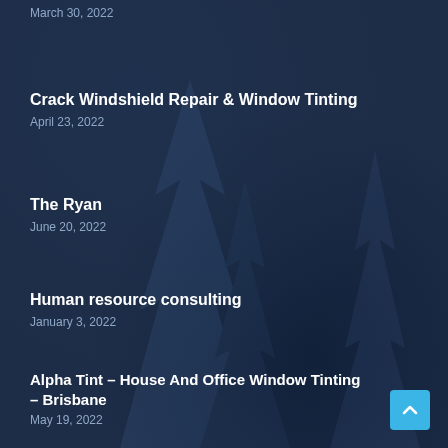March 30, 2022
Crack Windshield Repair & Window Tinting
April 23, 2022
The Ryan
June 20, 2022
Human resource consulting
January 3, 2022
Alpha Tint – House And Office Window Tinting – Brisbane
May 19, 2022